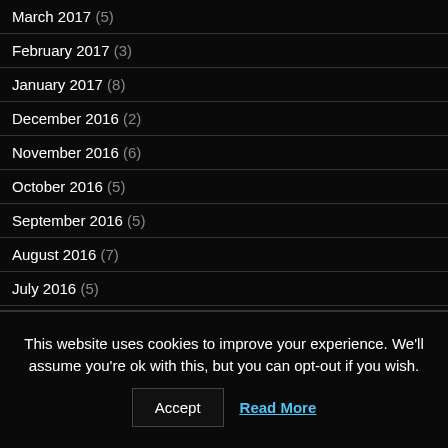March 2017 (5)
February 2017 (3)
January 2017 (8)
December 2016 (2)
November 2016 (6)
October 2016 (5)
September 2016 (5)
August 2016 (7)
July 2016 (5)
June 2016 (7)
This website uses cookies to improve your experience. We'll assume you're ok with this, but you can opt-out if you wish.
Accept | Read More